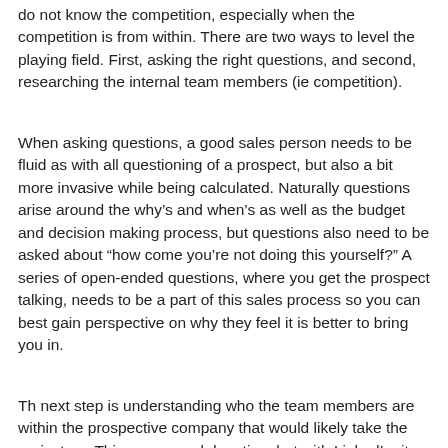do not know the competition, especially when the competition is from within. There are two ways to level the playing field. First, asking the right questions, and second, researching the internal team members (ie competition).
When asking questions, a good sales person needs to be fluid as with all questioning of a prospect, but also a bit more invasive while being calculated. Naturally questions arise around the why's and when's as well as the budget and decision making process, but questions also need to be asked about “how come you're not doing this yourself?” A series of open-ended questions, where you get the prospect talking, needs to be a part of this sales process so you can best gain perspective on why they feel it is better to bring you in.
Th next step is understanding who the team members are within the prospective company that would likely take the project on. This may sound daunting, but with LinkedIn, it becomes easier. Imagine for a moment that these individuals were another agency that you were